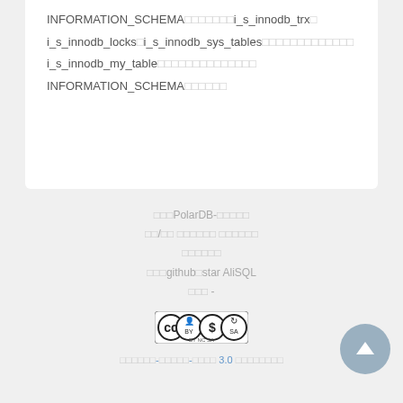INFORMATION_SCHEMA中的视图i_s_innodb_trx、i_s_innodb_locks、i_s_innodb_sys_tables等都对应到了i_s_innodb_my_table中的某个成员变量上，INFORMATION_SCHEMA中的每个
关于PolarDB-相关内容
读/写 分离功能 使用指南
问题反馈
给我们github上star AliSQL
许可 -
署名-非商业性使用-相同方式共享 3.0 未本地化版本(CC BY-NC-SA)
[Figure (logo): Creative Commons BY-NC-SA license badge]